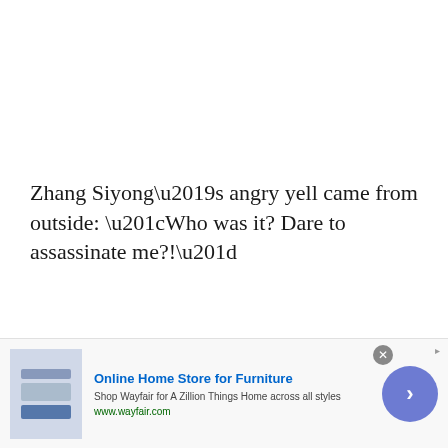Zhang Siyong’s angry yell came from outside: “Who was it? Dare to assassinate me?!”
He was a martial artist who was practicing all the year round and had been through a lot of battles. Thus, once he noticed the movement, he avoided the sharp arrow that
[Figure (other): Advertisement banner for Wayfair Online Home Store for Furniture with product image showing kitchen appliances, ad text, close button, and arrow CTA button]